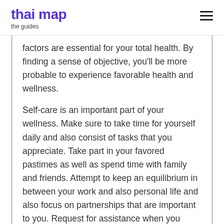thai map
the guides
factors are essential for your total health. By finding a sense of objective, you'll be more probable to experience favorable health and wellness.
Self-care is an important part of your wellness. Make sure to take time for yourself daily and also consist of tasks that you appreciate. Take part in your favored pastimes as well as spend time with family and friends. Attempt to keep an equilibrium in between your work and also personal life and also focus on partnerships that are important to you. Request for assistance when you